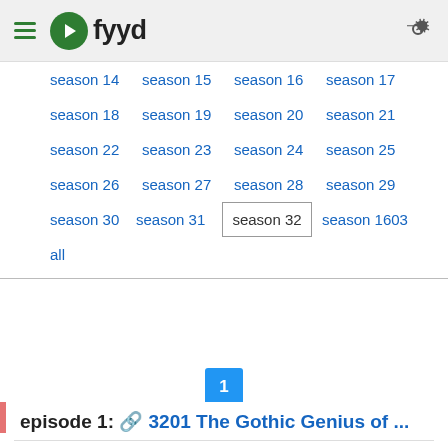fyyd
season 14
season 15
season 16
season 17
season 18
season 19
season 20
season 21
season 22
season 23
season 24
season 25
season 26
season 27
season 28
season 29
season 30
season 31
season 32
season 1603
all
1
episode 1: 3201 The Gothic Genius of ...
The Gothic leader Fritigern (possibly based on the Gothic Frithugairns) is, perhaps, one of the most under-appreciated commanders in the ancient world.